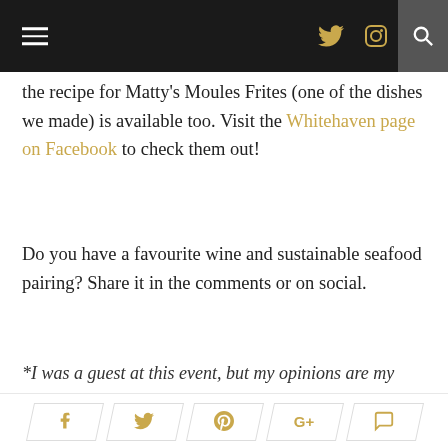≡  🐦  📷  🔍
the recipe for Matty's Moules Frites (one of the dishes we made) is available too. Visit the Whitehaven page on Facebook to check them out!
Do you have a favourite wine and sustainable seafood pairing? Share it in the comments or on social.
*I was a guest at this event, but my opinions are my own.
f  𝕥   pinterest  G+  comment